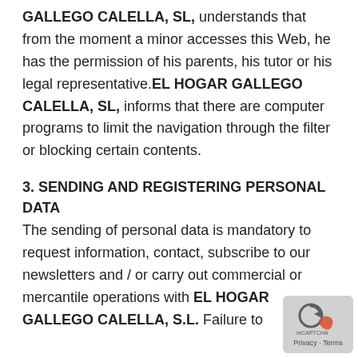GALLEGO CALELLA, SL, understands that from the moment a minor accesses this Web, he has the permission of his parents, his tutor or his legal representative.EL HOGAR GALLEGO CALELLA, SL, informs that there are computer programs to limit the navigation through the filter or blocking certain contents.
3. SENDING AND REGISTERING PERSONAL DATA
The sending of personal data is mandatory to request information, contact, subscribe to our newsletters and / or carry out commercial or mercantile operations with EL HOGAR GALLEGO CALELLA, S.L. Failure to